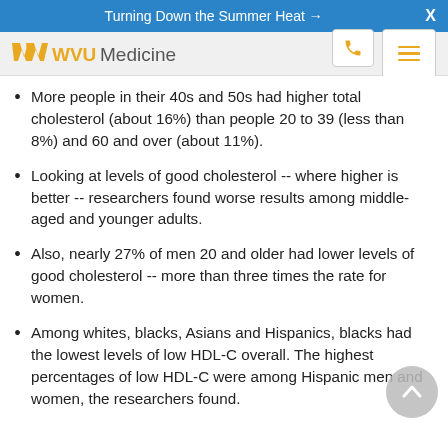Turning Down the Summer Heat →   X
[Figure (logo): WVU Medicine logo with phone and menu icons]
More people in their 40s and 50s had higher total cholesterol (about 16%) than people 20 to 39 (less than 8%) and 60 and over (about 11%).
Looking at levels of good cholesterol -- where higher is better -- researchers found worse results among middle-aged and younger adults.
Also, nearly 27% of men 20 and older had lower levels of good cholesterol -- more than three times the rate for women.
Among whites, blacks, Asians and Hispanics, blacks had the lowest levels of low HDL-C overall. The highest percentages of low HDL-C were among Hispanic men and women, the researchers found.